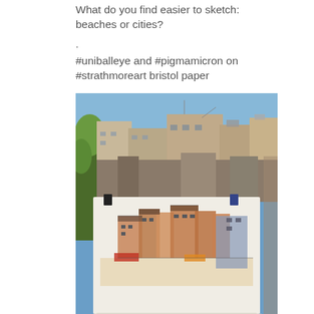What do you find easier to sketch: beaches or cities?
.
#uniballeye and #pigmamicron on #strathmoreart bristol paper
[Figure (photo): A photograph showing a cityscape of densely packed urban buildings with rooftop equipment under a blue sky, with a detailed urban sketch drawing (watercolor and ink style) held up in the foreground with binder clips, depicting a similar crowded city scene from an aerial perspective.]